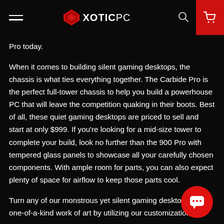XOTIC PC
Pro today.
When it comes to building silent gaming desktops, the chassis is what ties everything together. The Carbide Pro is the perfect full-tower chassis to help you build a powerhouse PC that will leave the competition quaking in their boots. Best of all, these quiet gaming desktops are priced to sell and start at only $999. If you're looking for a mid-size tower to complete your build, look no further than the 900 Pro with tempered glass panels to showcase all your carefully chosen components. With ample room for parts, you can also expect plenty of space for airflow to keep those parts cool.
Turn any of our monstrous yet silent gaming desktops into a one-of-a-kind work of art by utilizing our customization